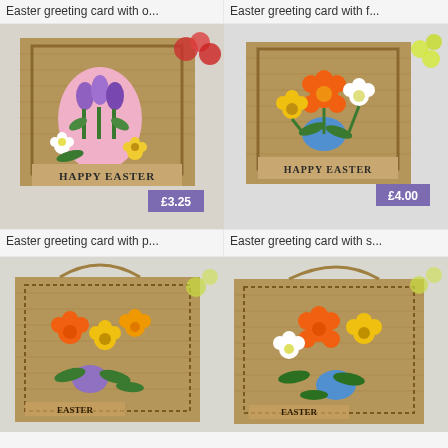Easter greeting card with o...
Easter greeting card with f...
[Figure (photo): Handmade Easter greeting card with burlap texture, purple tulips and pink egg design, price badge £3.25]
[Figure (photo): Handmade Easter greeting card with burlap texture, orange and yellow daffodils with blue egg design, price badge £4.00]
Easter greeting card with p...
Easter greeting card with s...
[Figure (photo): Handmade Easter greeting card/bag with burlap texture, orange and yellow flowers with purple egg design]
[Figure (photo): Handmade Easter greeting card/bag with burlap texture, orange yellow and white flowers with blue egg design]